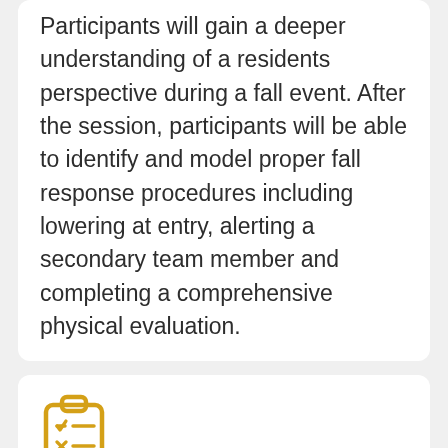Participants will gain a deeper understanding of a residents perspective during a fall event. After the session, participants will be able to identify and model proper fall response procedures including lowering at entry, alerting a secondary team member and completing a comprehensive physical evaluation.
[Figure (illustration): Clipboard with checklist icon in golden/amber color]
Assessment
Ensure all participants have played 3 roles: first responder, secondary responder, and resident.